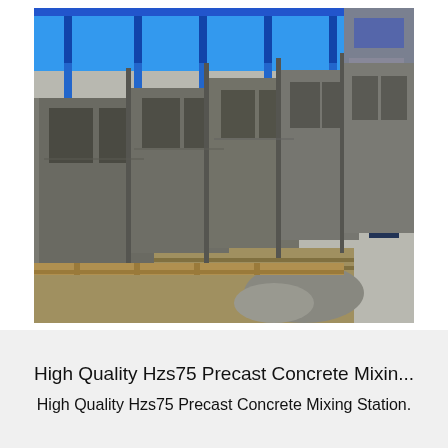[Figure (photo): Photograph of freshly made concrete blocks (cinder blocks) with hollow cores, placed on a wooden pallet inside a manufacturing facility. Blue metal machinery/molds are visible in the background above the blocks. A person in dark clothing is partially visible on the right side.]
High Quality Hzs75 Precast Concrete Mixin...
High Quality Hzs75 Precast Concrete Mixing Station.